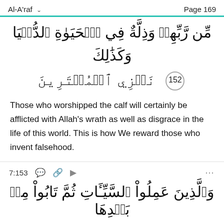Al-A'raf   Page 169
مِّن رَّبِّهِمۡ وَذِلَّةٌ فِي ٱلۡحَيَوٰةِ ٱلدُّنۡيَاۚ وَكَذَٰلِكَ نَجۡزِي ٱلۡمُفۡتَرِينَ ۝١٥٢
Those who worshipped the calf will certainly be afflicted with Allah's wrath as well as disgrace in the life of this world. This is how We reward those who invent falsehood.
7:153
وَٱلَّذِينَ عَمِلُواْ ٱلسَّيِّـَٔاتِ ثُمَّ تَابُواْ مِنۢ بَعۡدِهَا